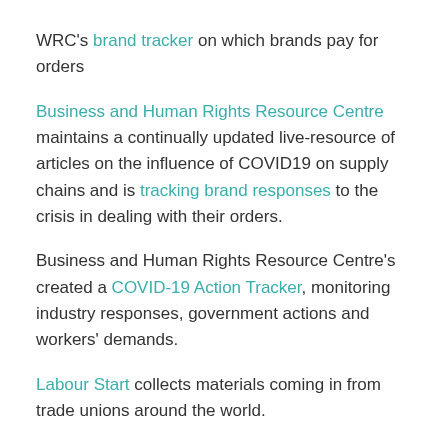WRC's brand tracker on which brands pay for orders
Business and Human Rights Resource Centre maintains a continually updated live-resource of articles on the influence of COVID19 on supply chains and is tracking brand responses to the crisis in dealing with their orders.
Business and Human Rights Resource Centre's created a COVID-19 Action Tracker, monitoring industry responses, government actions and workers' demands.
Labour Start collects materials coming in from trade unions around the world.
The International Trade Union Confederation collects trade union news on the COVID-19 crisis.
ICNL has a civic freedom tracker.